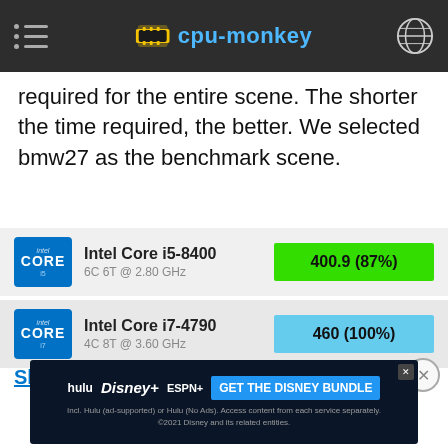cpu-monkey
required for the entire scene. The shorter the time required, the better. We selected bmw27 as the benchmark scene.
[Figure (infographic): Intel Core i5-8400 CPU comparison row with score 400.9 (87%) shown in green bar]
[Figure (infographic): Intel Core i7-4790 CPU comparison row with score 460 (100%) shown in blue bar]
Show all Blender 2.81 (bmw27) results
[Figure (screenshot): Disney Bundle advertisement banner showing Hulu, Disney+, ESPN+ logos with GET THE DISNEY BUNDLE CTA]